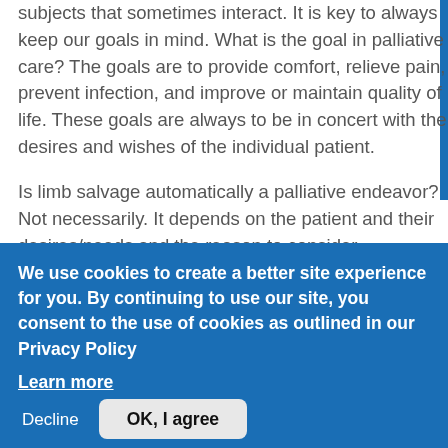subjects that sometimes interact. It is key to always keep our goals in mind. What is the goal in palliative care? The goals are to provide comfort, relieve pain, prevent infection, and improve or maintain quality of life. These goals are always to be in concert with the desires and wishes of the individual patient.
Is limb salvage automatically a palliative endeavor? Not necessarily. It depends on the patient and their desires/needs and the reason to consider amputation. Let's consider several cases:
Case A: A 80 year old...
We use cookies to create a better site experience for you. By continuing to use our site, you consent to the use of cookies as outlined in our Privacy Policy
Learn more
Decline   OK, I agree